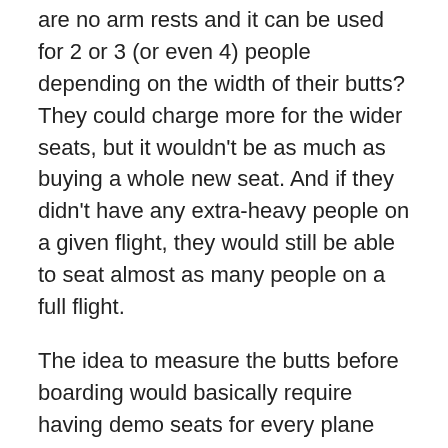are no arm rests and it can be used for 2 or 3 (or even 4) people depending on the width of their butts? They could charge more for the wider seats, but it wouldn't be as much as buying a whole new seat. And if they didn't have any extra-heavy people on a given flight, they would still be able to seat almost as many people on a full flight.
The idea to measure the butts before boarding would basically require having demo seats for every plane (they are not all the same) in every boarding zone. (I mean, it's not the size of your butt when you're standing, but when you're sitting, right? Not the same.) That sounds like a big outlay of money for an industry that has been on the verge of bankruptcy for years. The other